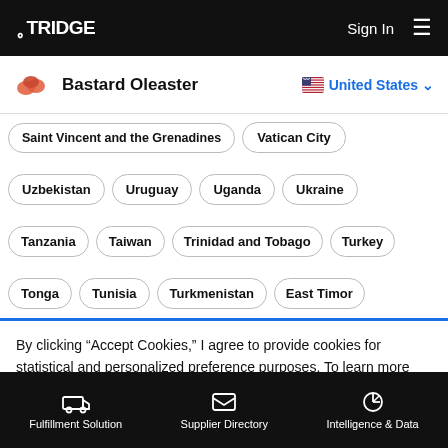TRIDGE  Sign In ☰
Bastard Oleaster  United States
Saint Vincent and the Grenadines  Vatican City
Uzbekistan  Uruguay  Uganda  Ukraine
Tanzania  Taiwan  Trinidad and Tobago  Turkey
Tonga  Tunisia  Turkmenistan  East Timor
By clicking "Accept Cookies," I agree to provide cookies for statistical and personalized preference purposes. To learn more about our cookies, please read our Privacy Policy.
Accept Cookies
Fulfillment Solution  Supplier Directory  Intelligence & Data